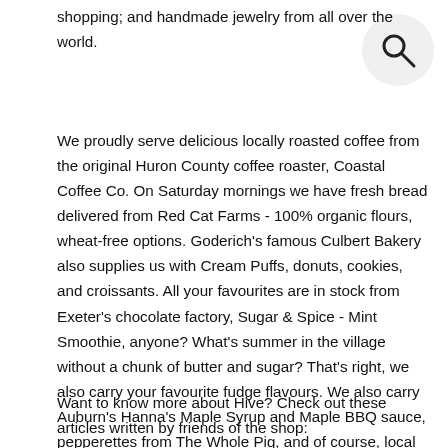shopping; and handmade jewelry from all over the world.
[Figure (other): Search icon (magnifying glass) in a light grey circle, positioned top-right of page]
We proudly serve delicious locally roasted coffee from the original Huron County coffee roaster, Coastal Coffee Co. On Saturday mornings we have fresh bread delivered from Red Cat Farms - 100% organic flours, wheat-free options. Goderich's famous Culbert Bakery also supplies us with Cream Puffs, donuts, cookies, and croissants. All your favourites are in stock from Exeter's chocolate factory, Sugar & Spice - Mint Smoothie, anyone? What's summer in the village without a chunk of butter and sugar? That's right, we also carry your favourite fudge flavours. We also carry Auburn's Hanna's Maple Syrup and Maple BBQ sauce, pepperettes from The Whole Pig, and of course, local honey from Ferguson's Apiaries.
Want to know more about Hive? Check out these articles written by friends of the shop: